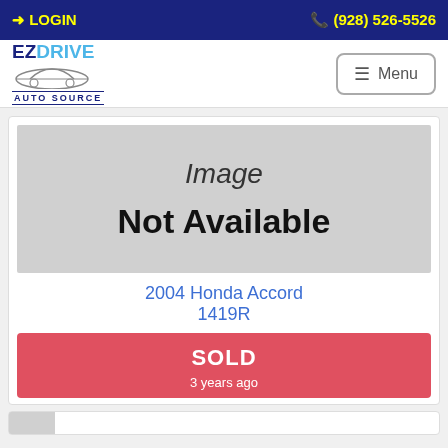LOGIN | (928) 526-5526
[Figure (logo): EZDrive Auto Source logo with car illustration]
Menu
[Figure (photo): Image Not Available placeholder]
2004 Honda Accord 1419R
SOLD
3 years ago